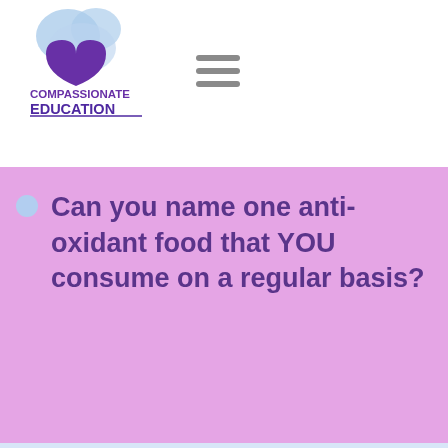[Figure (logo): Compassionate Education logo with blue cloud/heart shape and purple text]
Can you name one anti-oxidant food that YOU consume on a regular basis?
My Mind Challenge Week#18